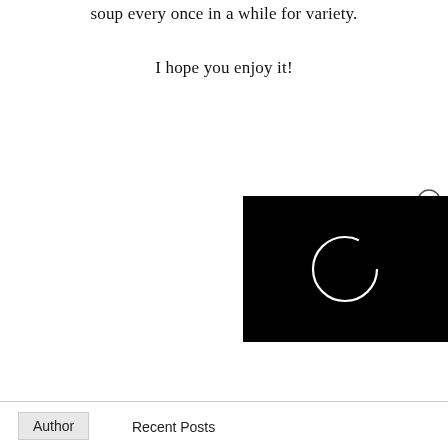soup every once in a while for variety.
I hope you enjoy it!
[Figure (screenshot): Black video player window with a white loading spinner circle in the center, and a close (X) button in the upper right corner.]
Author	Recent Posts